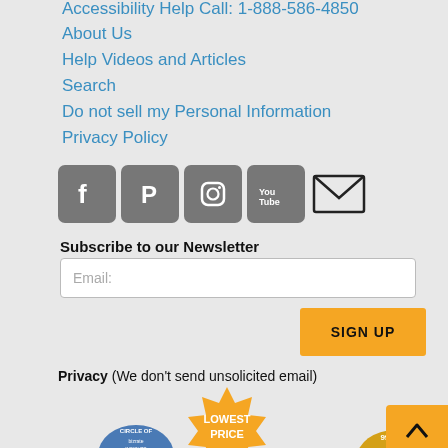Accessibility Help Call: 1-888-586-4850
About Us
Help Videos and Articles
Search
Do not sell my Personal Information
Privacy Policy
[Figure (infographic): Social media icons: Facebook, Pinterest, Instagram, YouTube, Email]
Subscribe to our Newsletter
Email:
SIGN UP
Privacy (We don't send unsolicited email)
[Figure (logo): LOWEST PRICE orange badge]
[Figure (logo): Bizrate Circle of Excellence badge]
[Figure (logo): 99,999+ reviews gold badge]
[Figure (other): Scroll to top button with caret]